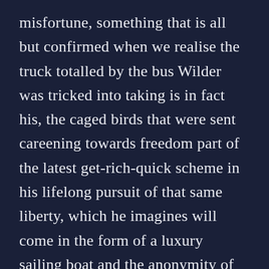misfortune, something that is all but confirmed when we realise the truck totalled by the bus Wilder was tricked into taking is in fact his, the caged birds that were sent careening towards freedom part of the latest get-rich-quick scheme in his lifelong pursuit of that same liberty, which he imagines will come in the form of a luxury sailing boat and the anonymity of the sea. The sentiment ‘good luck with that’ would have rolled off your tongue were it not for a certain something in Wilder’s ludicrously inappropriate luggage, luggage he quickly disposes of after tiring of her big city impracticality. Put succinctly, they’re not exactly